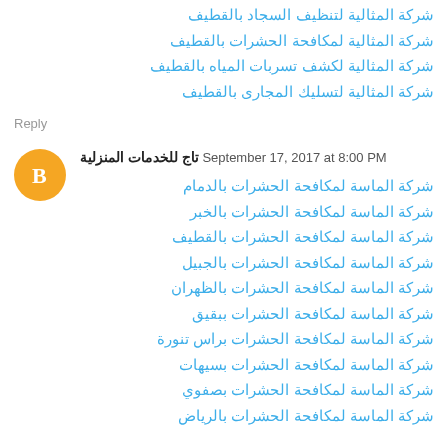شركة المثالية لتنظيف السجاد بالقطيف
شركة المثالية لمكافحة الحشرات بالقطيف
شركة المثالية لكشف تسربات المياه بالقطيف
شركة المثالية لتسليك المجارى بالقطيف
Reply
تاج للخدمات المنزلية September 17, 2017 at 8:00 PM
شركة الماسة لمكافحة الحشرات بالدمام
شركة الماسة لمكافحة الحشرات بالخبر
شركة الماسة لمكافحة الحشرات بالقطيف
شركة الماسة لمكافحة الحشرات بالجبيل
شركة الماسة لمكافحة الحشرات بالظهران
شركة الماسة لمكافحة الحشرات ببقيق
شركة الماسة لمكافحة الحشرات براس تنورة
شركة الماسة لمكافحة الحشرات بسيهات
شركة الماسة لمكافحة الحشرات بصفوي
شركة الماسة لمكافحة الحشرات بالرياض